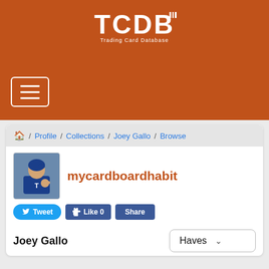TCDB - Trading Card Database
[Figure (logo): TCDB Trading Card Database logo in white on orange background]
[Figure (screenshot): Hamburger menu button (three horizontal lines) in white border box]
🏠 / Profile / Collections / Joey Gallo / Browse
[Figure (photo): Profile photo of baseball player (Joey Gallo) in Texas Rangers uniform making OK sign]
mycardboardhabit
Tweet  Like 0  Share
Joey Gallo
Haves